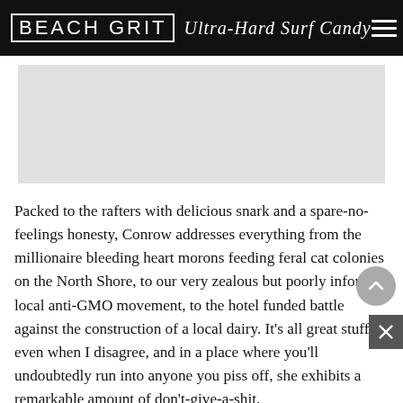BEACH GRIT Ultra-Hard Surf Candy
[Figure (other): Gray advertisement placeholder block]
Packed to the rafters with delicious snark and a spare-no-feelings honesty, Conrow addresses everything from the millionaire bleeding heart morons feeding feral cat colonies on the North Shore, to our very zealous but poorly informed local anti-GMO movement, to the hotel funded battle against the construction of a local dairy. It's all great stuff, even when I disagree, and in a place where you'll undoubtedly run into anyone you piss off, she exhibits a remarkable amount of don't-give-a-shit.